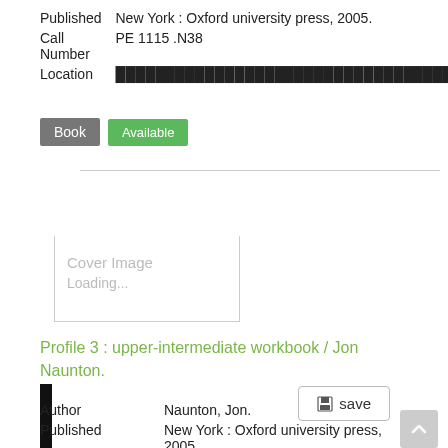| Published | New York : Oxford university press, 2005. |
| Call Number | PE 1115 .N38 |
| Location | ████████████████████████████████████ |
Book   Available
[Figure (screenshot): Black vertical bar on left side and a save button on the right, with Cover Image Loading... placeholder below]
Profile 3 : upper-intermediate workbook / Jon Naunton.
| Author | Naunton, Jon. |
| Published | New York : Oxford university press, 2005. |